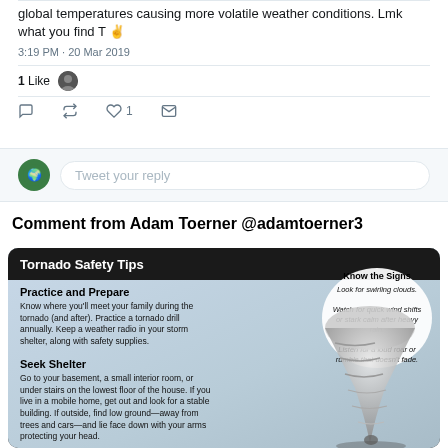global temperatures causing more volatile weather conditions. Lmk what you find T ✌️
3:19 PM · 20 Mar 2019
1 Like
[Figure (screenshot): Twitter reply box with green avatar and 'Tweet your reply' placeholder text]
Comment from Adam Toerner @adamtoerner3
[Figure (infographic): Tornado Safety Tips infographic with dark background. Sections: Practice and Prepare, Seek Shelter, After the Storm. Right side: Know the Signs bubble with tornado illustration. Tips include looking for swirling clouds, quick wind shifts, loud roar. Left text describes shelter and post-storm safety.]